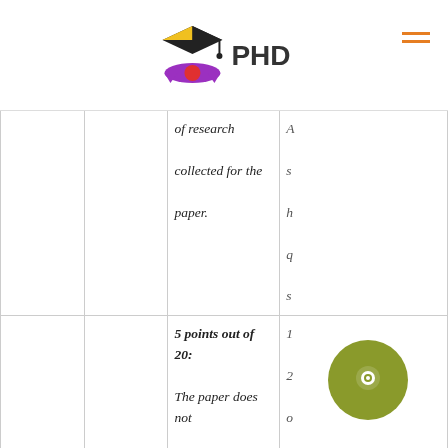PHD [logo]
|  |  | Col3 | Col4 |
| --- | --- | --- | --- |
|  |  | of research collected for the paper. | A s h q s |
|  |  | 5 points out of 20: The paper does not communicate ideas/points due to inappropriate | 1 2 o a fo s in |